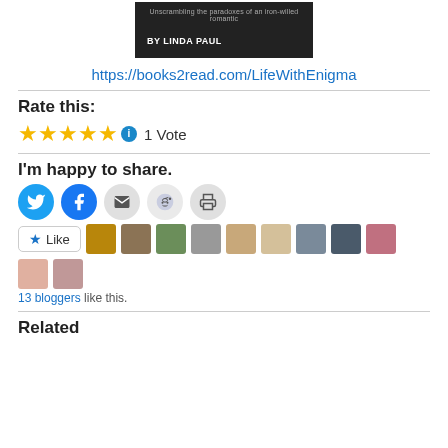[Figure (illustration): Book cover image with dark background, subtitle 'Unscrambling the paradoxes of an iron-willed romantic' and 'BY LINDA PAUL']
https://books2read.com/LifeWithEnigma
Rate this:
[Figure (other): 5 gold stars rating with info icon and '1 Vote' label]
I'm happy to share.
[Figure (other): Social sharing buttons: Twitter, Facebook, Email, Reddit, Print]
Like  13 bloggers like this.
Related